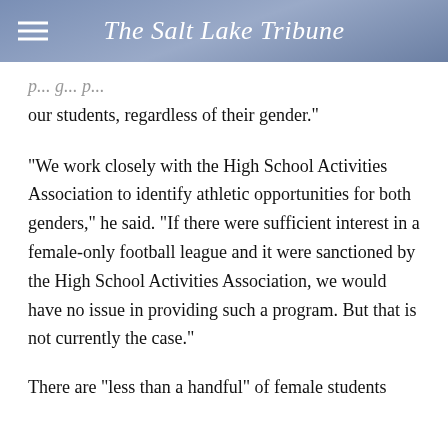The Salt Lake Tribune
p... g... p... our students, regardless of their gender."
"We work closely with the High School Activities Association to identify athletic opportunities for both genders," he said. "If there were sufficient interest in a female-only football league and it were sanctioned by the High School Activities Association, we would have no issue in providing such a program. But that is not currently the case."
There are "less than a handful" of female students